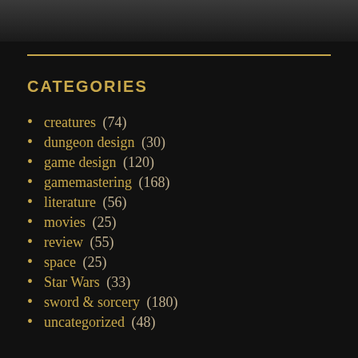[Figure (photo): Dark photo strip at top of page, partially visible image]
CATEGORIES
creatures (74)
dungeon design (30)
game design (120)
gamemastering (168)
literature (56)
movies (25)
review (55)
space (25)
Star Wars (33)
sword & sorcery (180)
uncategorized (48)